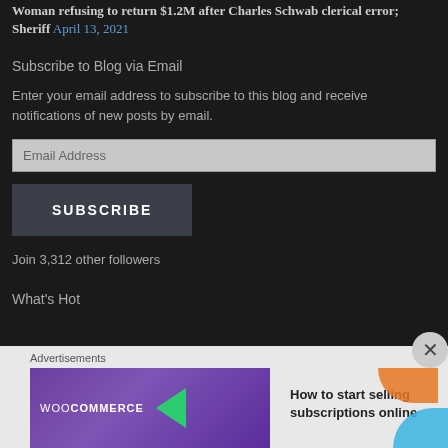Woman refusing to return $1.2M after Charles Schwab clerical error; Sheriff April 13, 2021
Subscribe to Blog via Email
Enter your email address to subscribe to this blog and receive notifications of new posts by email.
SUBSCRIBE
Join 3,312 other followers
What's Hot
Advertisements
[Figure (other): WooCommerce advertisement banner: 'How to start selling subscriptions online']